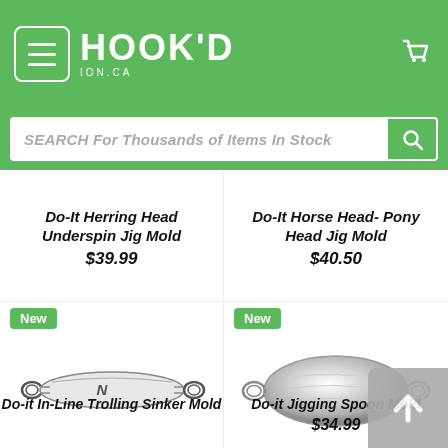HOOK'D ION.CA
SEARCH For Thousands of Items In Stock
Do-It Herring Head Underspin Jig Mold
$39.99
Do-It Horse Head- Pony Head Jig Mold
$40.50
[Figure (photo): Do-it In-Line Trolling Sinker Mold product sketch showing elongated sinker with loops at each end]
New
[Figure (photo): Do-it Jigging Spoon Mold product photo showing shiny oval metal spoon with loops at each end]
New
Do-it In-Line Trolling Sinker Mold
Do-it Jigging Spoon Mold
$34.99